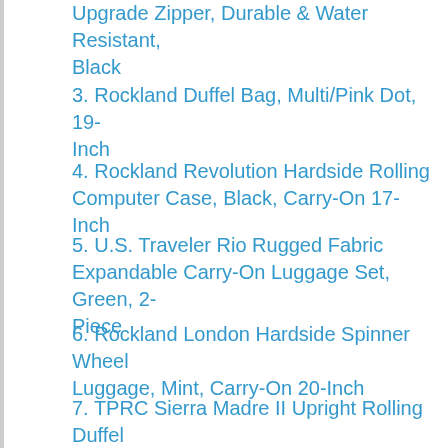Upgrade Zipper, Durable & Water Resistant, Black
3. Rockland Duffel Bag, Multi/Pink Dot, 19-Inch
4. Rockland Revolution Hardside Rolling Computer Case, Black, Carry-On 17-Inch
5. U.S. Traveler Rio Rugged Fabric Expandable Carry-On Luggage Set, Green, 2-Piece
6. Rockland London Hardside Spinner Wheel Luggage, Mint, Carry-On 20-Inch
7. TPRC Sierra Madre II Upright Rolling Duffel Bag, Black/Gray, 36-Inch
8. Rockland Rolling Duffel Bag, Camouflage, 40-Inch
9. Rockland Fashion Softside Upright Luggage Set, Charcoal, 2-Piece (14/19)